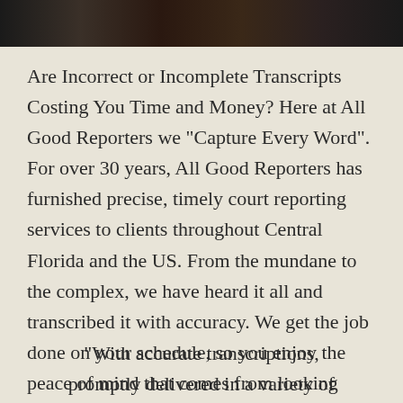[Figure (photo): Partial photo strip at the top of the page showing people, mostly dark/shadowed]
Are Incorrect or Incomplete Transcripts Costing You Time and Money? Here at All Good Reporters we "Capture Every Word". For over 30 years, All Good Reporters has furnished precise, timely court reporting services to clients throughout Central Florida and the US. From the mundane to the complex, we have heard it all and transcribed it with accuracy. We get the job done on your schedule, so you enjoy the peace of mind that comes from looking organized to your clients!
"With accurate transcriptions, promptly delivered in a variety of